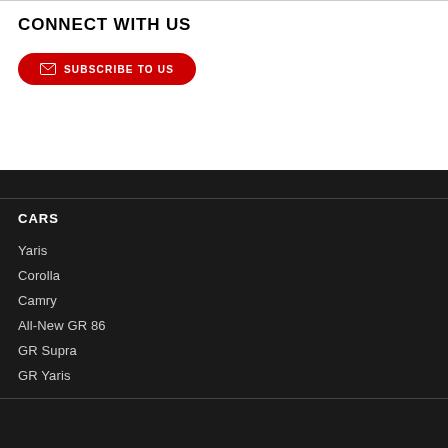CONNECT WITH US
[Figure (other): Subscribe to us button with email icon]
CARS
Yaris
Corolla
Camry
All-New GR 86
GR Supra
GR Yaris